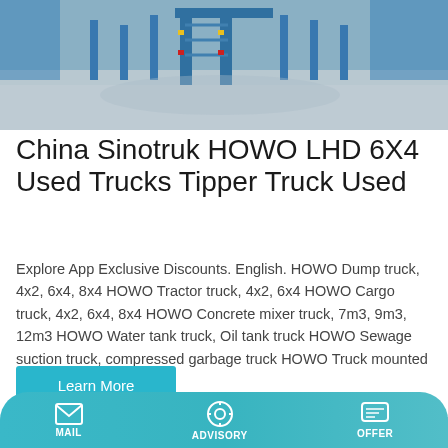[Figure (photo): Industrial facility with heavy equipment, blue steel frames and machinery on a concrete surface]
China Sinotruk HOWO LHD 6X4 Used Trucks Tipper Truck Used
Explore App Exclusive Discounts. English. HOWO Dump truck, 4x2, 6x4, 8x4 HOWO Tractor truck, 4x2, 6x4 HOWO Cargo truck, 4x2, 6x4, 8x4 HOWO Concrete mixer truck, 7m3, 9m3, 12m3 HOWO Water tank truck, Oil tank truck HOWO Sewage suction truck, compressed garbage truck HOWO Truck mounted crane, 5t, 10t, 20t
[Figure (photo): Orange concrete mixer trucks parked near a building]
MAIL   ADVISORY   OFFER